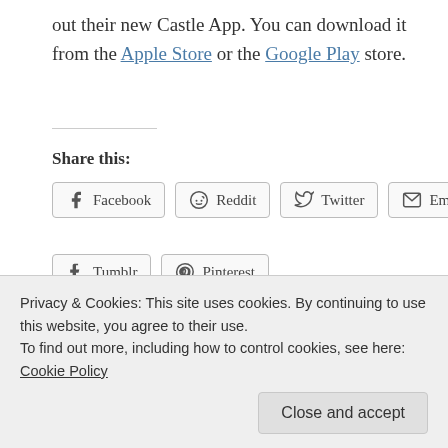out their new Castle App. You can download it from the Apple Store or the Google Play store.
Share this:
Facebook  Reddit  Twitter  Email  Tumblr  Pinterest
Related
[Figure (photo): Charlie Hunnam thumbnail image (placeholder)]
[Figure (photo): Green garden/nature photo]
Privacy & Cookies: This site uses cookies. By continuing to use this website, you agree to their use.
To find out more, including how to control cookies, see here: Cookie Policy
Close and accept